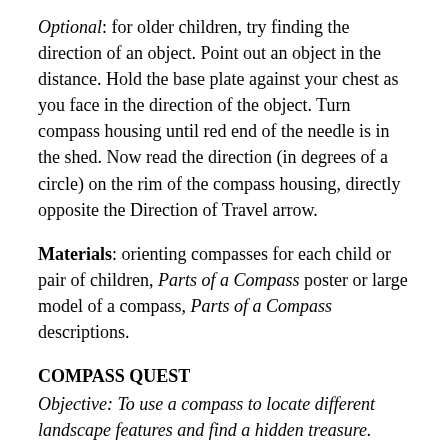Optional: for older children, try finding the direction of an object. Point out an object in the distance. Hold the base plate against your chest as you face in the direction of the object. Turn compass housing until red end of the needle is in the shed. Now read the direction (in degrees of a circle) on the rim of the compass housing, directly opposite the Direction of Travel arrow.
Materials: orienting compasses for each child or pair of children, Parts of a Compass poster or large model of a compass, Parts of a Compass descriptions.
COMPASS QUEST
Objective: To use a compass to locate different landscape features and find a hidden treasure.
Ahead of time, set up a compass course on the